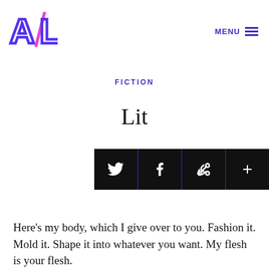A/L — MENU
FICTION
Lit
by Alex Espinoza
[Figure (other): Social sharing bar with Twitter, Facebook, link, and plus icons on black background]
Here's my body, which I give over to you. Fashion it. Mold it. Shape it into whatever you want. My flesh is your flesh.